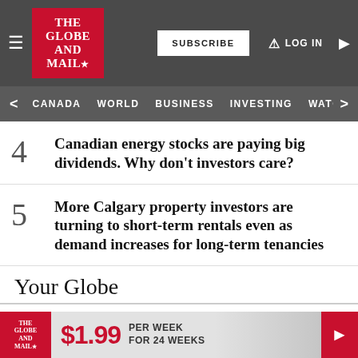The Globe and Mail — SUBSCRIBE | LOG IN
< CANADA  WORLD  BUSINESS  INVESTING  WATC >
4  Canadian energy stocks are paying big dividends. Why don't investors care?
5  More Calgary property investors are turning to short-term rentals even as demand increases for long-term tenancies
Your Globe
Build your personal news feed
More info
The Globe and Mail — $1.99 PER WEEK FOR 24 WEEKS >